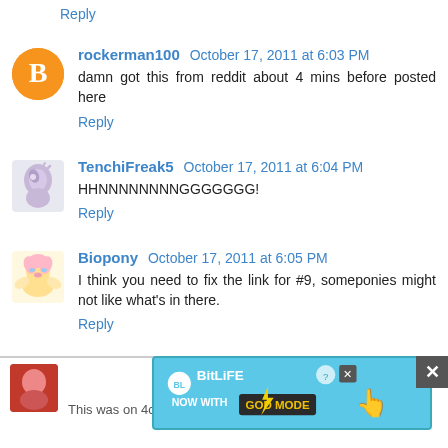Reply
rockerman100  October 17, 2011 at 6:03 PM
damn got this from reddit about 4 mins before posted here
Reply
TenchiFreak5  October 17, 2011 at 6:04 PM
HHNNNNNNNNGGGGGGG!
Reply
Biopony  October 17, 2011 at 6:05 PM
I think you need to fix the link for #9, someponies might not like what's in there.
Reply
[Figure (screenshot): BitLife advertisement banner — 'NOW WITH GOD MODE' with lightning bolt graphic and pointing hand illustration]
This was on 4chan a while ago, but still good.